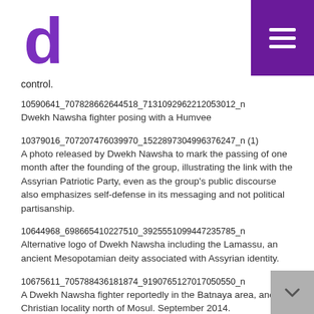[Figure (logo): Purple letter 'd' logo in top left corner]
[Figure (illustration): Purple hamburger menu icon on purple background in top right corner]
control.
10590641_707828662644518_7131092962212053012_n
Dwekh Nawsha fighter posing with a Humvee
10379016_707207476039970_1522897304996376247_n (1)
A photo released by Dwekh Nawsha to mark the passing of one month after the founding of the group, illustrating the link with the Assyrian Patriotic Party, even as the group's public discourse also emphasizes self-defense in its messaging and not political partisanship.
10644968_698665410227510_3925551099447235785_n
Alternative logo of Dwekh Nawsha including the Lamassu, an ancient Mesopotamian deity associated with Assyrian identity.
10675611_705788436181874_9190765127017050550_n
A Dwekh Nawsha fighter reportedly in the Batnaya area, another Christian locality north of Mosul. September 2014.